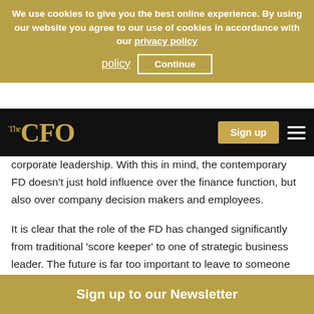We use cookies to give you the best online experience. By using our website you agree to our use of cookies in accordance with our privacy policy
The CFO | Sign up
corporate leadership. With this in mind, the contemporary FD doesn’t just hold influence over the finance function, but also over company decision makers and employees.
It is clear that the role of the FD has changed significantly from traditional ‘score keeper’ to one of strategic business leader. The future is far too important to leave to someone else. Your vision may not prove to be right, but pretty soon, tomorrow will have happened yesterday. Today’s FD must be commercial beyond the
Sign up to our Newsletter